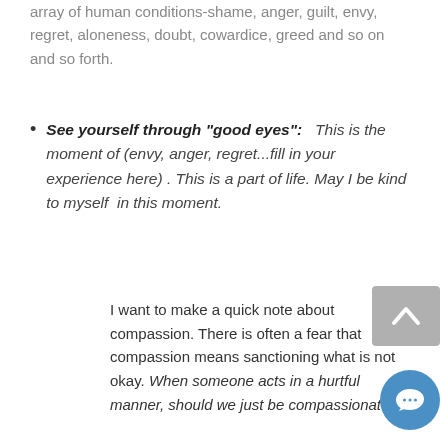array of human conditions-shame, anger, guilt, envy, regret, aloneness, doubt, cowardice, greed and so on and so forth.
See yourself through "good eyes":  This is the moment of (envy, anger, regret...fill in your experience here) . This is a part of life. May I be kind to myself  in this moment.
I want to make a quick note about compassion. There is often a fear that compassion means sanctioning what is not okay. When someone acts in a hurtful manner, should we just be compassionate?